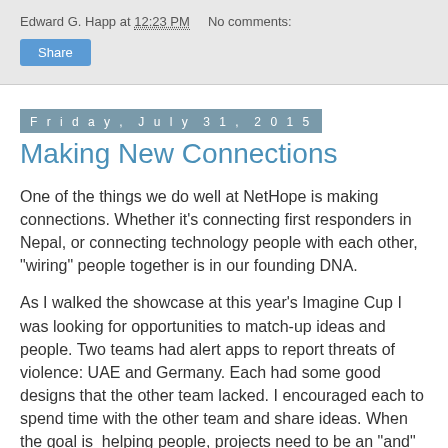Edward G. Happ at 12:23 PM    No comments:
Share
Friday, July 31, 2015
Making New Connections
One of the things we do well at NetHope is making connections. Whether it's connecting first responders in Nepal, or connecting technology people with each other, "wiring" people together is in our founding DNA.
As I walked the showcase at this year's Imagine Cup I was looking for opportunities to match-up ideas and people. Two teams had alert apps to report threats of violence: UAE and Germany. Each had some good designs that the other team lacked. I encouraged each to spend time with the other team and share ideas. When the goal is  helping people, projects need to be an "and" rather than an "or."
The Japanese innovation team had a virtual air interface that